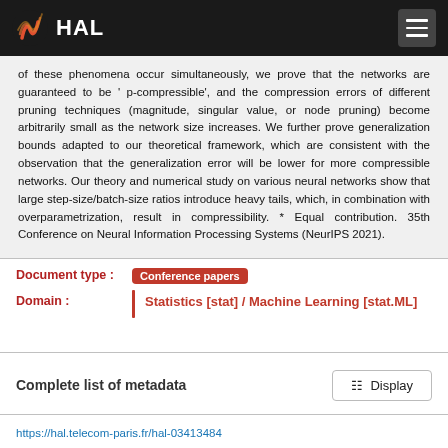HAL
of these phenomena occur simultaneously, we prove that the networks are guaranteed to be ' p-compressible', and the compression errors of different pruning techniques (magnitude, singular value, or node pruning) become arbitrarily small as the network size increases. We further prove generalization bounds adapted to our theoretical framework, which are consistent with the observation that the generalization error will be lower for more compressible networks. Our theory and numerical study on various neural networks show that large step-size/batch-size ratios introduce heavy tails, which, in combination with overparametrization, result in compressibility. * Equal contribution. 35th Conference on Neural Information Processing Systems (NeurIPS 2021).
Document type : Conference papers
Domain : Statistics [stat] / Machine Learning [stat.ML]
Complete list of metadata
https://hal.telecom-paris.fr/hal-03413484